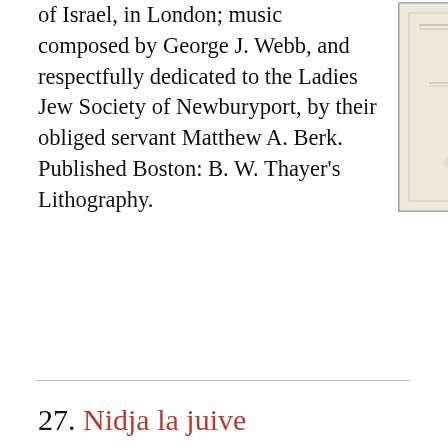of Israel, in London; music composed by George J. Webb, and respectfully dedicated to the Ladies Jew Society of Newburyport, by their obliged servant Matthew A. Berk. Published Boston: B. W. Thayer's Lithography.
[Figure (photo): Scanned image of a historical sheet music or document title page with text partially readable including George J. Webb and Ladies Jew Society of Newburyport, Matthew A. Berk]
27. Nidja la juive